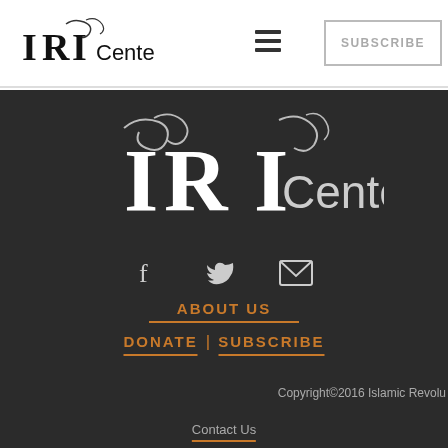IRI Center — SUBSCRIBE
[Figure (logo): IRI Center large decorative logo in white/gray on dark background with flourishes]
[Figure (infographic): Social icons: Facebook, Twitter, Email on dark background]
ABOUT US
DONATE | SUBSCRIBE
Copyright©2016 Islamic Revolu
Contact Us